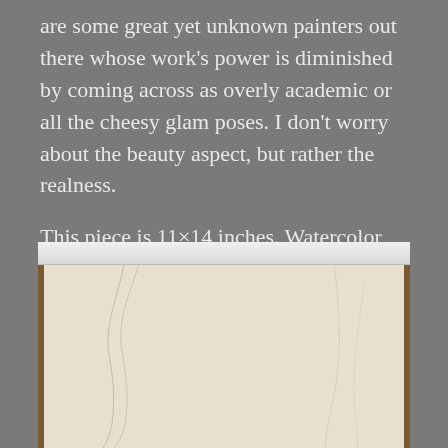are some great yet unknown painters out there whose work's power is diminished by coming across as overly academic or all the cheesy glam poses. I don't worry about the beauty aspect, but rather the realness.

This piece is 11×14 inches. Watercolor on brown paper.
[Figure (photo): A watercolor painting on brown paper shown mounted on a clipboard or drawing board with a white bar at the top. The painting surface is light beige/cream colored with faint pencil sketch lines visible — curved lines suggesting a figure outline.]